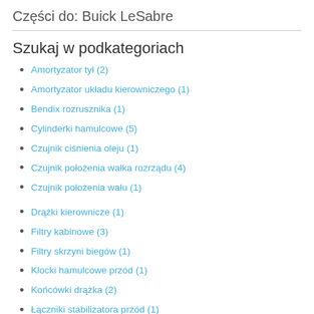Części do: Buick LeSabre
Szukaj w podkategoriach
Amortyzator tył (2)
Amortyzator układu kierowniczego (1)
Bendix rozrusznika (1)
Cylinderki hamulcowe (5)
Czujnik ciśnienia oleju (1)
Czujnik położenia wałka rozrządu (4)
Czujnik położenia wału (1)
Drążki kierownicze (1)
Filtry kabinowe (3)
Filtry skrzyni biegów (1)
Klocki hamulcowe przód (1)
Końcówki drążka (2)
Łączniki stabilizatora przód (1)
Łączniki stabilizatora tył (1)
Mocowanie amortyzatora (2)
Osprzęt elektryczny (2)